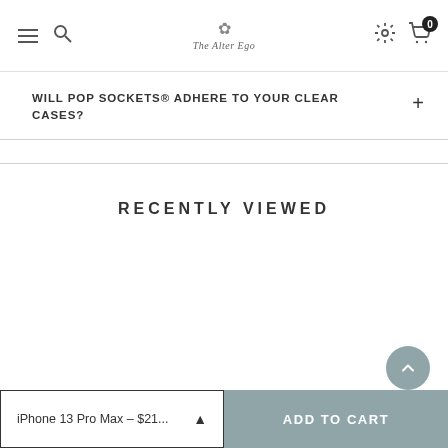The Alter Ego — navigation header with hamburger menu, search icon, logo, gear icon, cart icon with badge 0
WILL POP SOCKETS® ADHERE TO YOUR CLEAR CASES?
RECENTLY VIEWED
iPhone 13 Pro Max – $21...
ADD TO CART